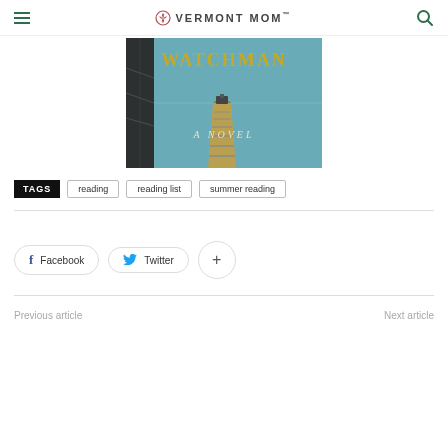Vermont Mom
[Figure (illustration): Book cover of 'Go Set a Watchman: A Novel' showing railroad tracks receding into a teal background with a distant train, and a dark tree on the left.]
TAGS  reading  reading list  summer reading
Facebook  Twitter  +
Previous article  Next article